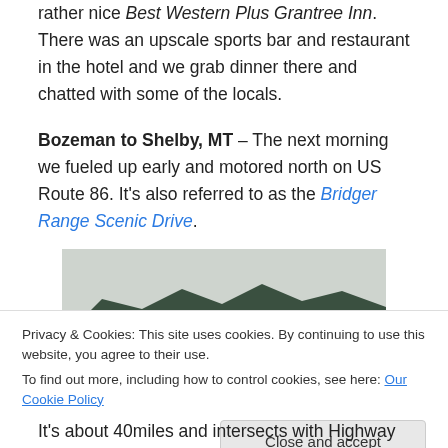rather nice Best Western Plus Grantree Inn. There was an upscale sports bar and restaurant in the hotel and we grab dinner there and chatted with some of the locals.
Bozeman to Shelby, MT – The next morning we fueled up early and motored north on US Route 86. It's also referred to as the Bridger Range Scenic Drive.
[Figure (photo): Mountain landscape with forested hillside, open meadow in the foreground, overcast sky.]
Privacy & Cookies: This site uses cookies. By continuing to use this website, you agree to their use.
To find out more, including how to control cookies, see here: Our Cookie Policy
It's about 40miles and intersects with Highway 89 north of